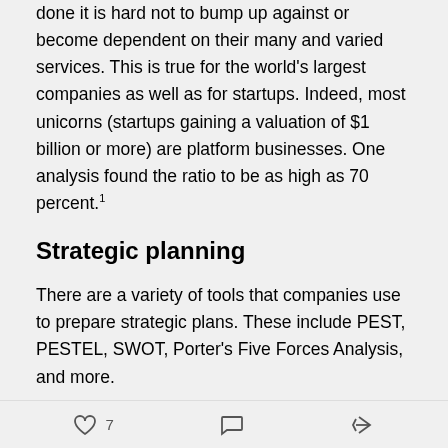done it is hard not to bump up against or become dependent on their many and varied services. This is true for the world's largest companies as well as for startups. Indeed, most unicorns (startups gaining a valuation of $1 billion or more) are platform businesses. One analysis found the ratio to be as high as 70 percent.¹
Strategic planning
There are a variety of tools that companies use to prepare strategic plans. These include PEST, PESTEL, SWOT, Porter's Five Forces Analysis, and more.
Some companies prepare detailed economic and product forecasts. Others go further and develop
♡ 7  💬  ↪